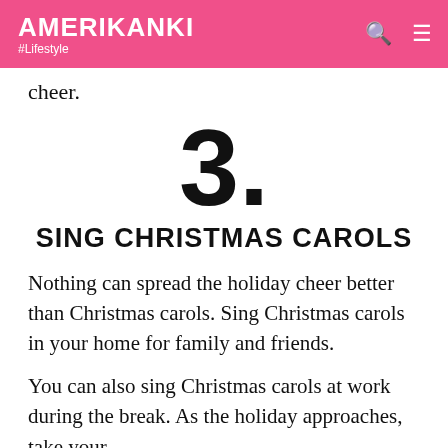AMERIKANKI #Lifestyle
cheer.
3. SING CHRISTMAS CAROLS
Nothing can spread the holiday cheer better than Christmas carols. Sing Christmas carols in your home for family and friends.
You can also sing Christmas carols at work during the break. As the holiday approaches, take your